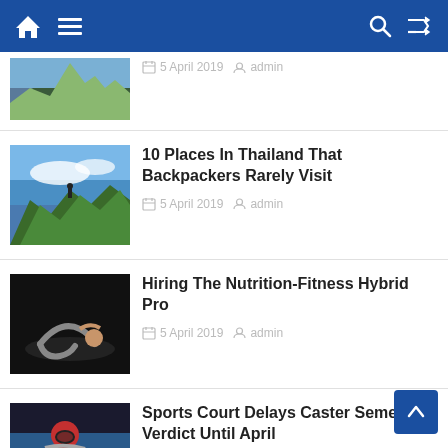Navigation bar with home, menu, search, and shuffle icons
[Figure (photo): Partial mountain/landscape photo - top of list item cropped]
5 April 2019  admin
[Figure (photo): Person standing on mountain with blue sky and clouds]
10 Places In Thailand That Backpackers Rarely Visit
5 April 2019  admin
[Figure (photo): Person doing fitness/sit-up exercises on dark background]
Hiring The Nutrition-Fitness Hybrid Pro
5 April 2019  admin
[Figure (photo): Sports person with red helmet/gear]
Sports Court Delays Caster Semenya Verdict Until April